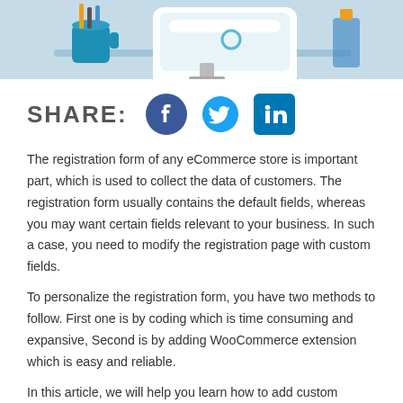[Figure (illustration): Top portion of a blog article header illustration showing a computer monitor and desk items on a light blue background]
SHARE: [Facebook icon] [Twitter icon] [LinkedIn icon]
The registration form of any eCommerce store is important part, which is used to collect the data of customers. The registration form usually contains the default fields, whereas you may want certain fields relevant to your business. In such a case, you need to modify the registration page with custom fields.
To personalize the registration form, you have two methods to follow. First one is by coding which is time consuming and expansive, Second is by adding WooCommerce extension which is easy and reliable.
In this article, we will help you learn how to add custom registration fields using WooCommerce registration...